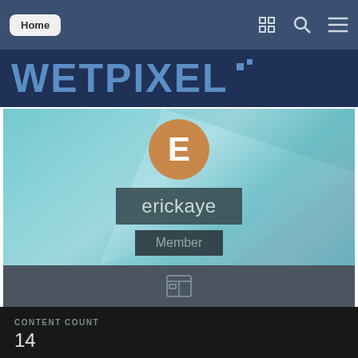Home
WETPIXEL
[Figure (screenshot): User profile banner with avatar circle showing letter E, username erickaye, and Member badge on teal geometric background]
CONTENT COUNT
14
JOINED
February 18, 2010